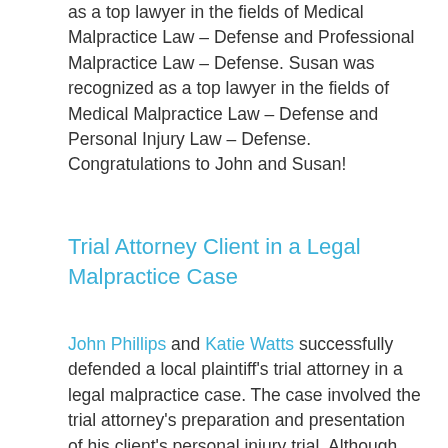as a top lawyer in the fields of Medical Malpractice Law – Defense and Professional Malpractice Law – Defense. Susan was recognized as a top lawyer in the fields of Medical Malpractice Law – Defense and Personal Injury Law – Defense. Congratulations to John and Susan!
Trial Attorney Client in a Legal Malpractice Case
John Phillips and Katie Watts successfully defended a local plaintiff's trial attorney in a legal malpractice case. The case involved the trial attorney's preparation and presentation of his client's personal injury trial. Although the client received a jury verdict in his favor, his dissatisfaction with the result prompted him to